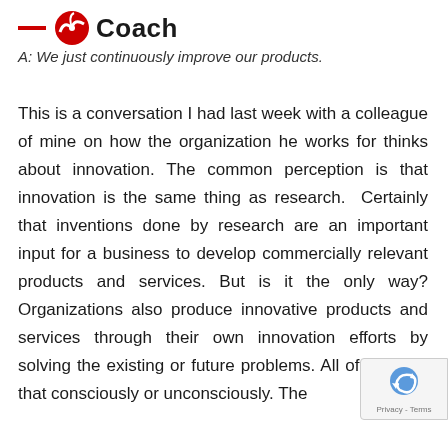Coach
A: We just continuously improve our products.
This is a conversation I had last week with a colleague of mine on how the organization he works for thinks about innovation. The common perception is that innovation is the same thing as research.  Certainly that inventions done by research are an important input for a business to develop commercially relevant products and services. But is it the only way? Organizations also produce innovative products and services through their own innovation efforts by solving the existing or future problems. All of them do that consciously or unconsciously. The